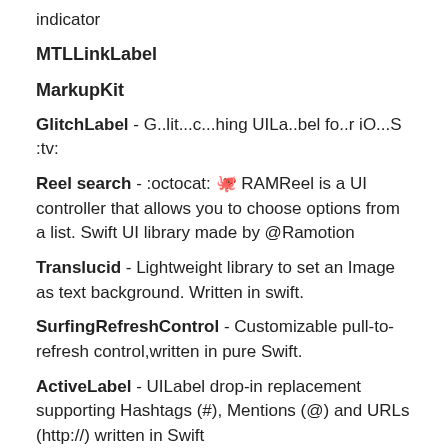indicator
MTLLinkLabel
MarkupKit
GlitchLabel - G..lit...c...hing UILa..bel fo..r iO...S :tv:
Reel search - :octocat: 🐙 RAMReel is a UI controller that allows you to choose options from a list. Swift UI library made by @Ramotion
Translucid - Lightweight library to set an Image as text background. Written in swift.
SurfingRefreshControl - Customizable pull-to-refresh control,written in pure Swift.
ActiveLabel - UILabel drop-in replacement supporting Hashtags (#), Mentions (@) and URLs (http://) written in Swift